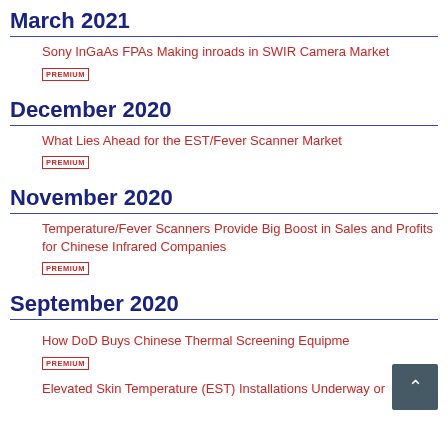March 2021
Sony InGaAs FPAs Making inroads in SWIR Camera Market
PREMIUM
December 2020
What Lies Ahead for the EST/Fever Scanner Market
PREMIUM
November 2020
Temperature/Fever Scanners Provide Big Boost in Sales and Profits for Chinese Infrared Companies
PREMIUM
September 2020
How DoD Buys Chinese Thermal Screening Equipment
PREMIUM
Elevated Skin Temperature (EST) Installations Underway or…